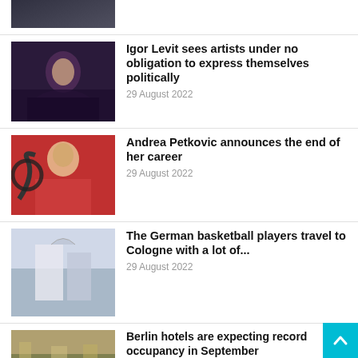[Figure (photo): Partial view of a person in a dark suit at top of page (cropped)]
[Figure (photo): Igor Levit at a piano on a dark stage with purple lighting]
Igor Levit sees artists under no obligation to express themselves politically
29 August 2022
[Figure (photo): Andrea Petkovic holding a tennis racket in a red outfit]
Andrea Petkovic announces the end of her career
29 August 2022
[Figure (photo): German basketball players celebrating with a high-five]
The German basketball players travel to Cologne with a lot of...
29 August 2022
[Figure (photo): Crowd scene in Berlin with flags]
Berlin hotels are expecting record occupancy in September